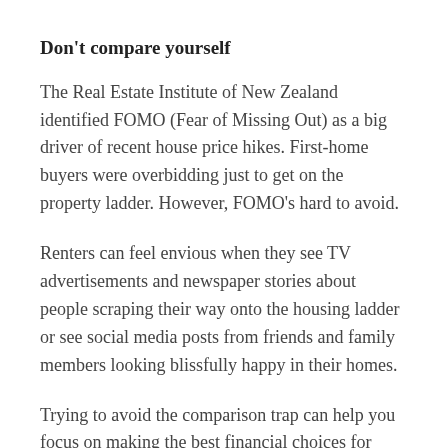Don't compare yourself
The Real Estate Institute of New Zealand identified FOMO (Fear of Missing Out) as a big driver of recent house price hikes. First-home buyers were overbidding just to get on the property ladder. However, FOMO's hard to avoid.
Renters can feel envious when they see TV advertisements and newspaper stories about people scraping their way onto the housing ladder or see social media posts from friends and family members looking blissfully happy in their homes.
Trying to avoid the comparison trap can help you focus on making the best financial choices for